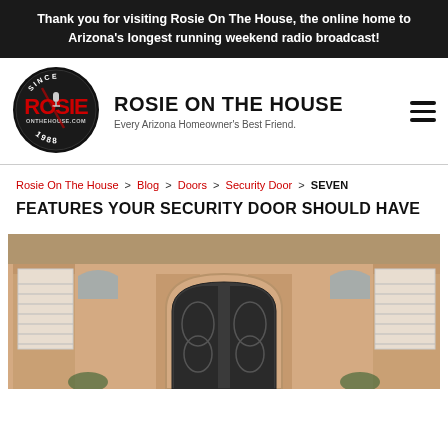Thank you for visiting Rosie On The House, the online home to Arizona's longest running weekend radio broadcast!
[Figure (logo): Rosie On The House circular logo — black circle with SINCE top, ROSIE in red bold letters, microphone graphic, ONTHEHOUSE.COM text, 1988 at bottom]
ROSIE ON THE HOUSE
Every Arizona Homeowner's Best Friend.
Rosie On The House > Blog > Doors > Security Door > SEVEN FEATURES YOUR SECURITY DOOR SHOULD HAVE
SEVEN FEATURES YOUR SECURITY DOOR SHOULD HAVE
[Figure (photo): A large ornate wrought iron double security door with arched top design, set in a stucco entryway with arched columns. The doors feature decorative scrollwork. Plantation shutters are visible in the windows flanking the entry.]